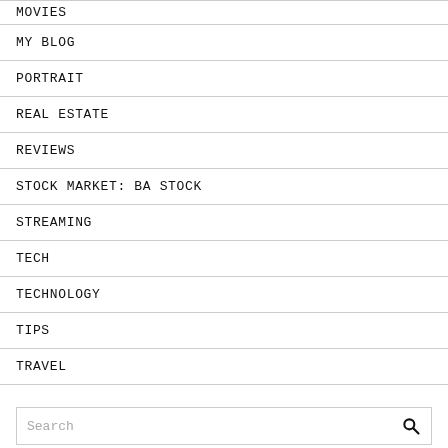MOVIES
MY BLOG
PORTRAIT
REAL ESTATE
REVIEWS
STOCK MARKET: BA STOCK
STREAMING
TECH
TECHNOLOGY
TIPS
TRAVEL
Search